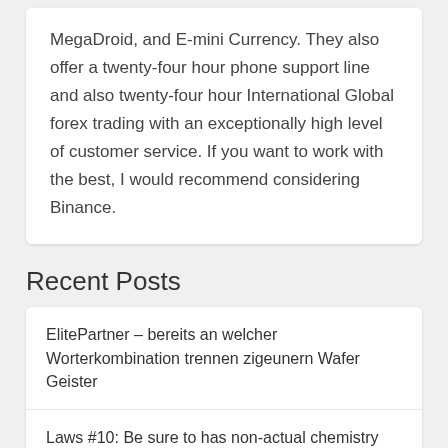MegaDroid, and E-mini Currency. They also offer a twenty-four hour phone support line and also twenty-four hour International Global forex trading with an exceptionally high level of customer service. If you want to work with the best, I would recommend considering Binance.
Recent Posts
ElitePartner – bereits an welcher Worterkombination trennen zigeunern Wafer Geister
Laws #10: Be sure to has non-actual chemistry
Not one of these often fix your account availability due to incapacity so you're able to validate over Texts A couple of-Factor Authentication